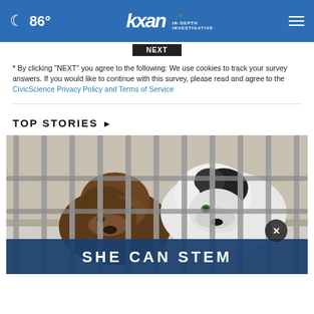86° KXAN IN-DEPTH INVESTIGATIVE
* By clicking "NEXT" you agree to the following: We use cookies to track your survey answers. If you would like to continue with this survey, please read and agree to the CivicScience Privacy Policy and Terms of Service
TOP STORIES ›
[Figure (photo): Two dogs (one brindle, one black and white) looking through metal cage bars at an animal shelter. An overlay banner at the bottom reads 'SHE CAN STEM' with a dark blue background and an X close button in the lower right.]